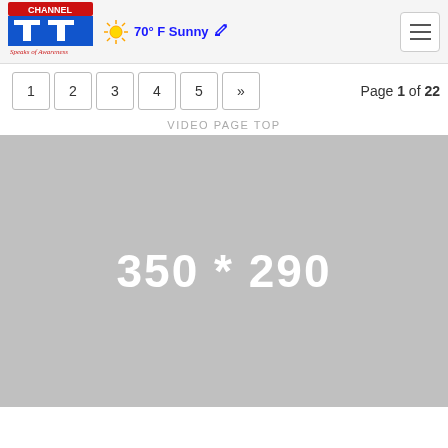Channel TT — Speaks of Awareness | 70° F Sunny
Page 1 of 22
VIDEO PAGE TOP
[Figure (other): Gray placeholder image showing dimensions 350 * 290]